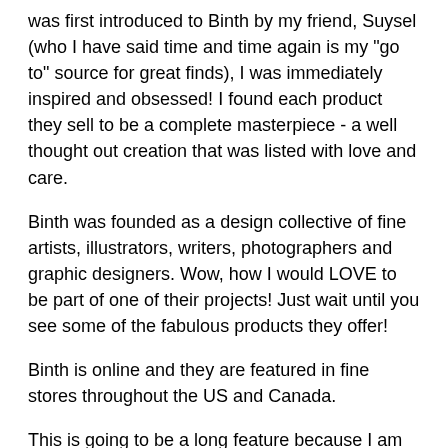was first introduced to Binth by my friend, Suysel (who I have said time and time again is my "go to" source for great finds), I was immediately inspired and obsessed! I found each product they sell to be a complete masterpiece - a well thought out creation that was listed with love and care.
Binth was founded as a design collective of fine artists, illustrators, writers, photographers and graphic designers. Wow, how I would LOVE to be part of one of their projects! Just wait until you see some of the fabulous products they offer!
Binth is online and they are featured in fine stores throughout the US and Canada.
This is going to be a long feature because I am in LOVE with so many of their products.
One of my favorite products is their baby book, which actually happens to be the first product they came out with in 2005. This is not your typical baby book. This is a clothbound hard cover, hand-assembled and case bound book that is